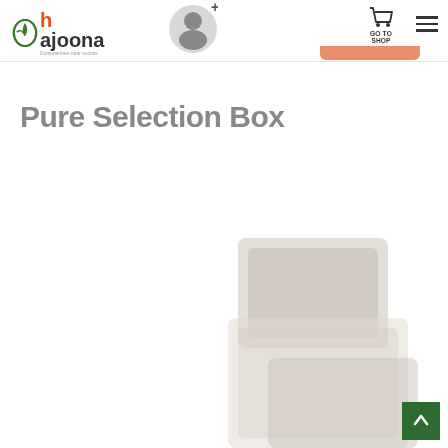hajoona | GO TO SHOP
Pure Selection Box
[Figure (photo): Partially visible product image in the lower right area of the page, appears to show packaged food/supplement products stacked together, mostly cropped out of view.]
[Figure (illustration): Scroll-to-top button with upward arrow in dark green square at bottom right corner.]